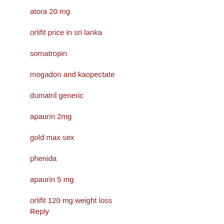atora 20 mg
orlifit price in sri lanka
somatropin
mogadon and kaopectate
dumatril generic
apaurin 2mg
gold max sex
phenida
apaurin 5 mg
orlifit 120 mg weight loss
Reply